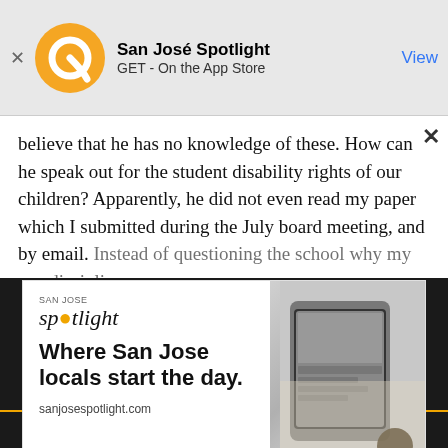[Figure (screenshot): App Store banner for San José Spotlight app with orange circular logo, text 'San José Spotlight' and 'GET - On the App Store', with blue 'View' button]
believe that he has no knowledge of these. How can he speak out for the student disability rights of our children? Apparently, he did not even read my paper which I submitted during the July board meeting, and by email. Instead of questioning the school why my son discipline...
[Figure (infographic): San José Spotlight advertisement: 'Where San Jose locals start the day.' with tablet device image and sanjosespotlight.com URL]
[Figure (screenshot): Email subscription form on dark background with EMAIL ADDRESS input field and SUBSCRIBE button, then 'Thanks, I'm not interested or already a subscriber' footer link]